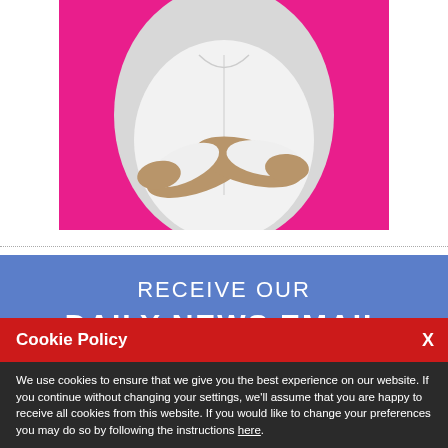[Figure (photo): Partial photo of a person in a white shirt with arms crossed, against a magenta/pink background. Only the torso and crossed arms are visible (head cropped out).]
RECEIVE OUR
DAILY NEWS EMAIL
Cookie Policy
We use cookies to ensure that we give you the best experience on our website. If you continue without changing your settings, we'll assume that you are happy to receive all cookies from this website. If you would like to change your preferences you may do so by following the instructions here.